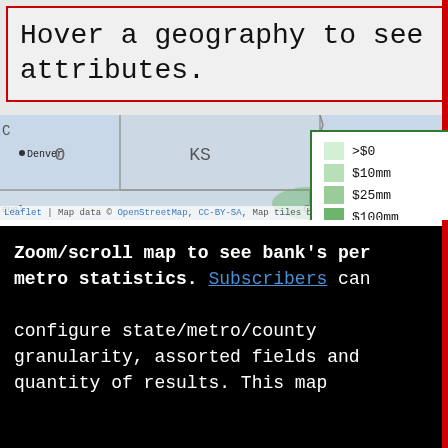Hover a geography to see attributes.
[Figure (map): US Midwest map showing KS, MO, OK, AR states with Denver and Kansas City labeled. Green legend showing funding tiers: >$0, $10mm, $25mm, $100mm, $250mm, $500mm]
Leaflet | Map data © OpenStreetMap, CC-BY-SA, Map tiles by Stamen Design.
Zoom/scroll map to see bank's per metro statistics. Subscribers can configure state/metro/county granularity, assorted fields and quantity of results. This map